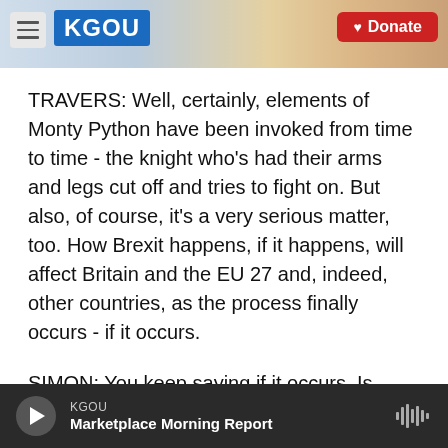KGOU [logo] | Donate
TRAVERS: Well, certainly, elements of Monty Python have been invoked from time to time - the knight who's had their arms and legs cut off and tries to fight on. But also, of course, it's a very serious matter, too. How Brexit happens, if it happens, will affect Britain and the EU 27 and, indeed, other countries, as the process finally occurs - if it occurs.
SIMON: You keep saying if it occurs. Is there a real chance now that it won't?
KGOU | Marketplace Morning Report